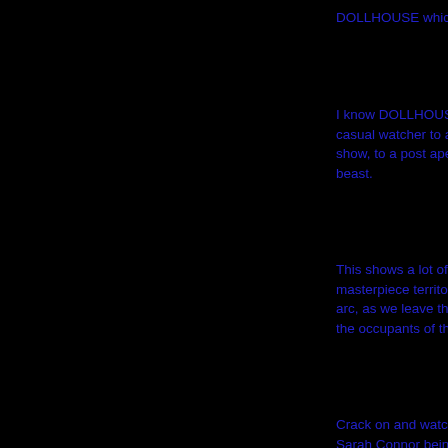DOLLHOUSE whic
I know DOLLHOUS casual watcher to a show, to a post ape beast.
This shows a lot of masterpiece territo arc, as we leave th the occupants of th
Crack on and watc Sarah Connor bein